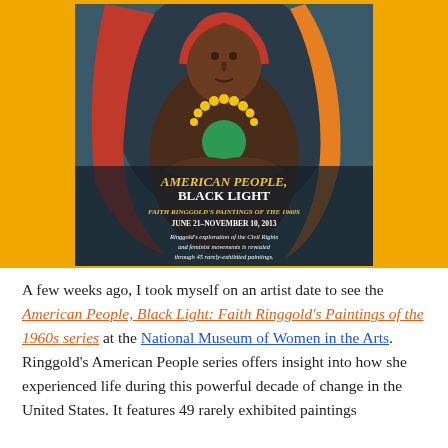[Figure (photo): Exhibition poster for 'American People, Black Light: Faith Ringgold's Paintings of the 1960s' showing a stylized painting of a Black woman with a yellow beaded necklace against a dark background with red and orange arcs. Text overlay reads: 'AMERICAN PEOPLE, BLACK LIGHT / FAITH RINGGOLD'S PAINTINGS OF THE 1960S / JUNE 21–NOVEMBER 10, 2013 / Ringgold's exploration of the Civil Rights and feminist movements is revealed through 45 rarely-exhibited paintings.' The poster is set against a yellow/orange background.]
A few weeks ago, I took myself on an artist date to see the American People, Black Light: Faith Ringgold's Paintings of the 1960s series at the National Museum of Women in the Arts. Ringgold's American People series offers insight into how she experienced life during this powerful decade of change in the United States. It features 49 rarely exhibited paintings